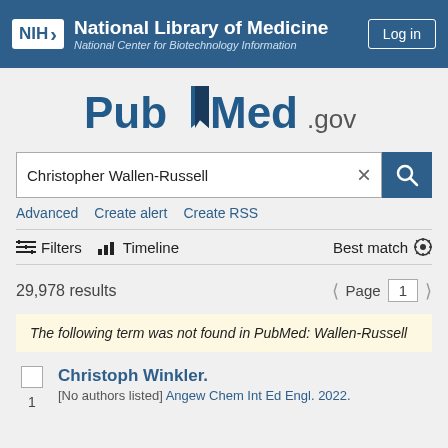NIH National Library of Medicine National Center for Biotechnology Information | Log in
[Figure (logo): PubMed.gov logo with stylized bookmark flag between 'Pub' and 'Med']
Christopher Wallen-Russell [search input]
Advanced   Create alert   Create RSS
Filters   Timeline   Best match
29,978 results   Page 1
The following term was not found in PubMed: Wallen-Russell
Christoph Winkler.
1   [No authors listed] Angew Chem Int Ed Engl. 2022.